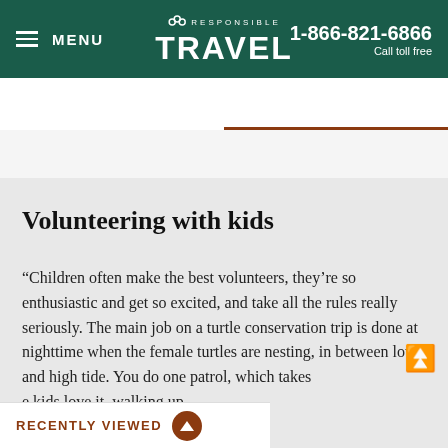MENU | RESPONSIBLE TRAVEL | 1-866-821-6866 Call toll free
HOLIDAYS | TRAVEL GUIDE
Volunteering with kids
“Children often make the best volunteers, they’re so enthusiastic and get so excited, and take all the rules really seriously. The main job on a turtle conservation trip is done at nighttime when the female turtles are nesting, in between low and high tide. You do one patrol, which takes e kids love it, walking up ight. It’s not for miles
RECENTLY VIEWED